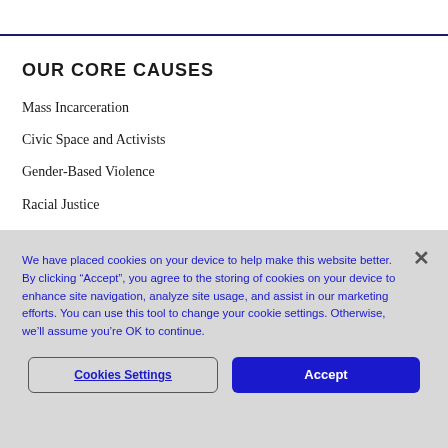OUR CORE CAUSES
Mass Incarceration
Civic Space and Activists
Gender-Based Violence
Racial Justice
We have placed cookies on your device to help make this website better. By clicking “Accept”, you agree to the storing of cookies on your device to enhance site navigation, analyze site usage, and assist in our marketing efforts. You can use this tool to change your cookie settings. Otherwise, we’ll assume you’re OK to continue.
Cookies Settings
Accept